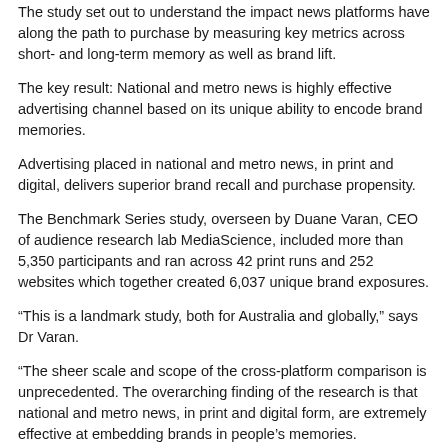The study set out to understand the impact news platforms have along the path to purchase by measuring key metrics across short- and long-term memory as well as brand lift.
The key result: National and metro news is highly effective advertising channel based on its unique ability to encode brand memories.
Advertising placed in national and metro news, in print and digital, delivers superior brand recall and purchase propensity.
The Benchmark Series study, overseen by Duane Varan, CEO of audience research lab MediaScience, included more than 5,350 participants and ran across 42 print runs and 252 websites which together created 6,037 unique brand exposures.
“This is a landmark study, both for Australia and globally,” says Dr Varan.
"The sheer scale and scope of the cross-platform comparison is unprecedented. The overarching finding of the research is that national and metro news, in print and digital form, are extremely effective at embedding brands in people's memories.
"The reason for this is that when people consume news content, they enter an active and alert state of mind and this carries over to